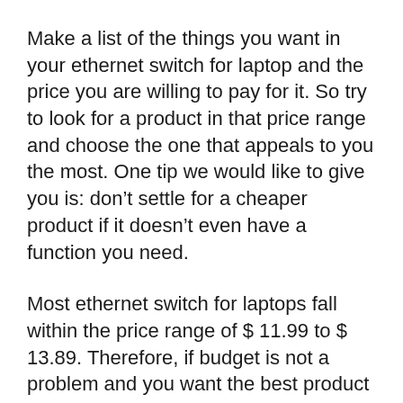Make a list of the things you want in your ethernet switch for laptop and the price you are willing to pay for it. So try to look for a product in that price range and choose the one that appeals to you the most. One tip we would like to give you is: don't settle for a cheaper product if it doesn't even have a function you need.
Most ethernet switch for laptops fall within the price range of $ 11.99 to $ 13.89. Therefore, if budget is not a problem and you want the best product for your needs, we advise you to choose the UGREEN Ethernet Adapter USB 2.0 to 10 100 Network RJ45 LAN Wired Adapter Compatible for Nintendo Switch Wii Wii U MacBook Chromebook